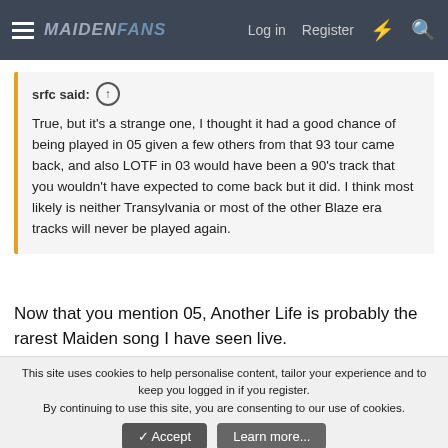MaidenFans — Log in  Register
srfc said: ↑

True, but it's a strange one, I thought it had a good chance of being played in 05 given a few others from that 93 tour came back, and also LOTF in 03 would have been a 90's track that you wouldn't have expected to come back but it did. I think most likely is neither Transylvania or most of the other Blaze era tracks will never be played again.
Now that you mention 05, Another Life is probably the rarest Maiden song I have seen live.
◄◄  ◄ Prev  2 of 3  Next ►  ►►
This site uses cookies to help personalise content, tailor your experience and to keep you logged in if you register.
By continuing to use this site, you are consenting to our use of cookies.
✓ Accept   Learn more...